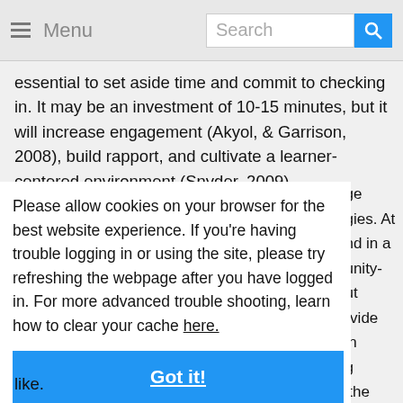≡ Menu  Search
essential to set aside time and commit to checking in. It may be an investment of 10-15 minutes, but it will increase engagement (Akyol, & Garrison, 2008), build rapport, and cultivate a learner-centered environment (Snyder, 2009).
Please allow cookies on your browser for the best website experience. If you're having trouble logging in or using the site, please try refreshing the webpage after you have logged in. For more advanced trouble shooting, learn how to clear your cache here.
Got it!
like.